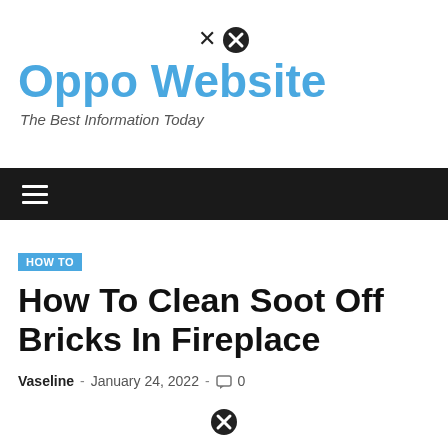Oppo Website – The Best Information Today
HOW TO
How To Clean Soot Off Bricks In Fireplace
Vaseline - January 24, 2022 - 0